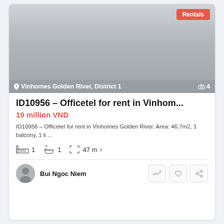[Figure (photo): Property listing photo placeholder — grey gradient image of Vinhomes Golden River, District 1 with location label and photo count badge showing 4]
ID10956 – Officetel for rent in Vinhom...
19 million VND
ID10956 – Officetel for rent in Vinhomes Golden River. Area: 46.7m2, 1 balcony, 1 li ...
1 bedroom, 1 bathroom, 47 m²
Bui Ngoc Niem